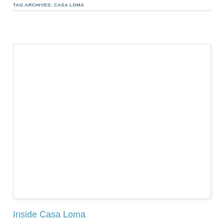TAG ARCHIVES: CASA LOMA
[Figure (photo): Large white/blank image placeholder box with light border and subtle shadow]
Inside Casa Loma